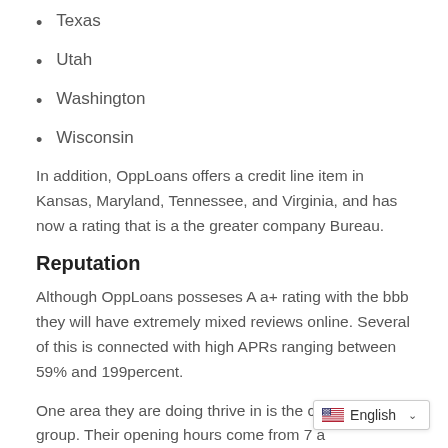Texas
Utah
Washington
Wisconsin
In addition, OppLoans offers a credit line item in Kansas, Maryland, Tennessee, and Virginia, and has now a rating that is a the greater company Bureau.
Reputation
Although OppLoans posseses A a+ rating with the bbb they will have extremely mixed reviews online. Several of this is connected with high APRs ranging between 59% and 199percent.
One area they are doing thrive in is the customer care group. Their opening hours come from 7 a…